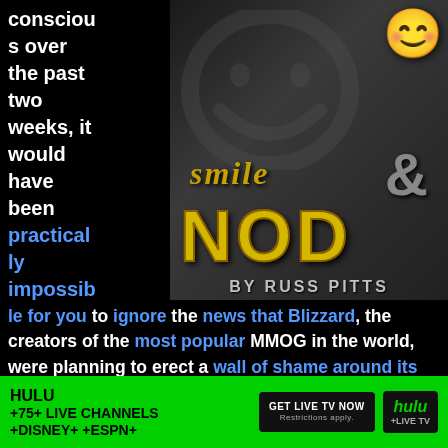[Figure (illustration): Book cover for 'Smile & Nod by Russ Pitts' — dark background with large smiley face, yellow NOD text, muscular figure holding emoji, ampersand symbol]
conscious over the past two weeks, it would have been practically impossible for you to ignore the news that Blizzard, the creators of the most popular MMOG in the world, were planning to erect a wall of shame around its player-base, in the form of a new rule stipulating that your characters would be tagged to
[Figure (other): Hulu advertisement banner: HULU +75+ LIVE CHANNELS +DISNEY+ +ESPN+ GET LIVE TV NOW Restrictions apply. hulu +LIVE TV]